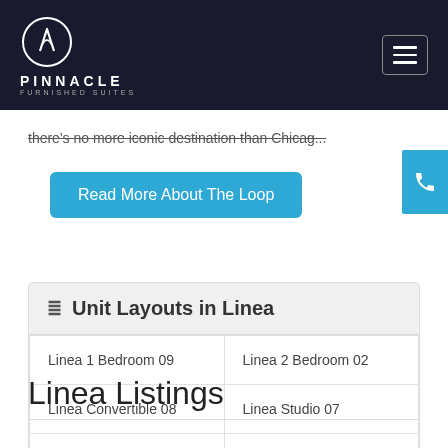PINNACLE FURNISHED SUITES
there's no more iconic destination than Chicag...
Read More About The Loop
Unit Layouts in Linea
| Linea 1 Bedroom 09 | Linea 2 Bedroom 02 |
| Linea Convertible 08 | Linea Studio 07 |
| Linea 2 Bedroom 11 | Linea 2 Bedroom 07 |
| Linea 3 Bedroom 01 | Linea Convertible 10 |
Linea Listings